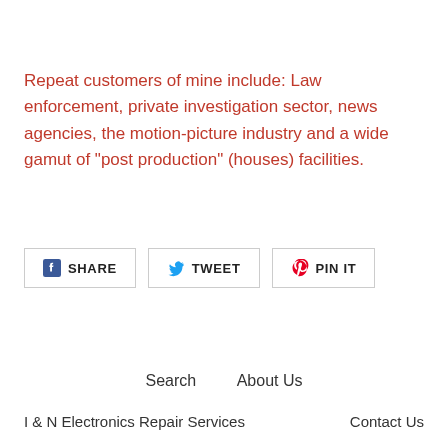Repeat customers of mine include: Law enforcement, private investigation sector, news agencies, the motion-picture industry and a wide gamut of "post production" (houses) facilities.
[Figure (other): Social sharing buttons: SHARE (Facebook), TWEET (Twitter), PIN IT (Pinterest)]
Search   About Us   I & N Electronics Repair Services   Contact Us